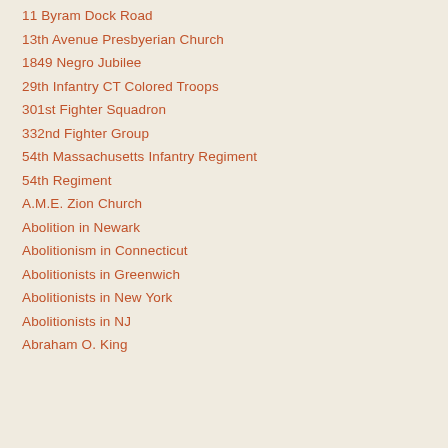11 Byram Dock Road
13th Avenue Presbyerian Church
1849 Negro Jubilee
29th Infantry CT Colored Troops
301st Fighter Squadron
332nd Fighter Group
54th Massachusetts Infantry Regiment
54th Regiment
A.M.E. Zion Church
Abolition in Newark
Abolitionism in Connecticut
Abolitionists in Greenwich
Abolitionists in New York
Abolitionists in NJ
Abraham O. King